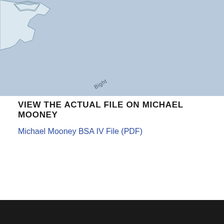[Figure (map): Partial map showing a coastal area with light blue water background and shoreline outline. Text label 'Bight' visible at lower portion of map, rotated diagonally.]
VIEW THE ACTUAL FILE ON MICHAEL MOONEY
Michael Mooney BSA IV File (PDF)